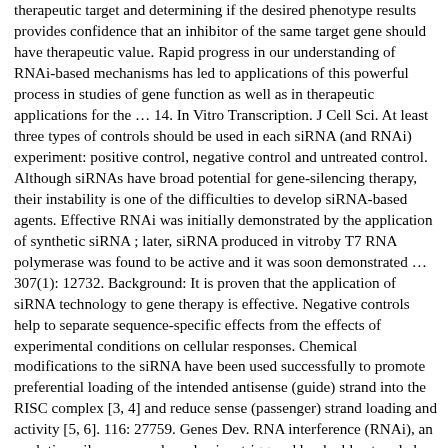(…) therapeutic target and determining if the desired phenotype results provides confidence that an inhibitor of the same target gene should have therapeutic value. Rapid progress in our understanding of RNAi-based mechanisms has led to applications of this powerful process in studies of gene function as well as in therapeutic applications for the … 14. In Vitro Transcription. J Cell Sci. At least three types of controls should be used in each siRNA (and RNAi) experiment: positive control, negative control and untreated control. Although siRNAs have broad potential for gene-silencing therapy, their instability is one of the difficulties to develop siRNA-based agents. Effective RNAi was initially demonstrated by the application of synthetic siRNA ; later, siRNA produced in vitroby T7 RNA polymerase was found to be active and it was soon demonstrated … 307(1): 12732. Background: It is proven that the application of siRNA technology to gene therapy is effective. Negative controls help to separate sequence-specific effects from the effects of experimental conditions on cellular responses. Chemical modifications to the siRNA have been used successfully to promote preferential loading of the intended antisense (guide) strand into the RISC complex [3, 4] and reduce sense (passenger) strand loading and activity [5, 6]. 116: 27759. Genes Dev. RNA interference (RNAi), an evolutionarily conserved mechanism triggered by double-stranded RNA (dsRNA), causes gene silencing in a sequence-specific manner. Cancer Res. 63(13): 353945. Provided below are some of the more prominent